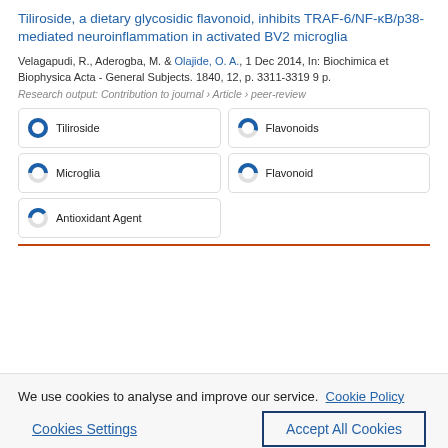Tiliroside, a dietary glycosidic flavonoid, inhibits TRAF-6/NF-κB/p38-mediated neuroinflammation in activated BV2 microglia
Velagapudi, R., Aderogba, M. & Olajide, O. A., 1 Dec 2014, In: Biochimica et Biophysica Acta - General Subjects. 1840, 12, p. 3311-3319 9 p.
Research output: Contribution to journal › Article › peer-review
[Figure (infographic): Fingerprint keyword badges with donut-style percentage icons: Tiliroside (100%), Flavonoids (~55%), Microglia (~50%), Flavonoid (~50%), Antioxidant Agent (~40%)]
We use cookies to analyse and improve our service. Cookie Policy
Cookies Settings
Accept All Cookies